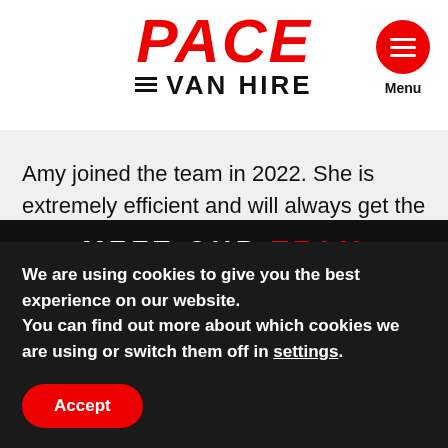PACE VAN HIRE | Menu
Amy joined the team in 2022. She is extremely efficient and will always get the job done. Amy has a passion for motorbikes and enjoys driving so if you’re van is being delivered it is likely to be Amy that will greet you.
MEET OUR TEAM
We are using cookies to give you the best experience on our website.
You can find out more about which cookies we are using or switch them off in settings.
Accept